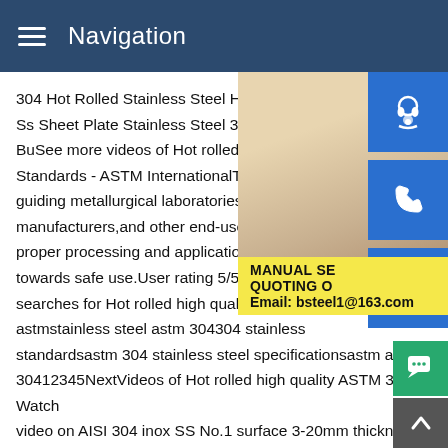Navigation
304 Hot Rolled Stainless Steel H Beam,W Ss Sheet Plate Stainless Steel 304 Plate P BuSee more videos of Hot rolled high qua Standards - ASTM InternationalThese stee guiding metallurgical laboratories and refin manufacturers,and other end-users of stee proper processing and application procedu towards safe use.User rating 5/5Price Ran searches for Hot rolled high quality ASTM astmstainless steel astm 304304 stainless standardsastm 304 stainless steel specificationsastm a240 30412345NextVideos of Hot rolled high quality ASTM 304 Watch video on AISI 304 inox SS No.1 surface 3-20mm thickness ho rolled stainless steel pWatch video on High Quality Hot Rolled 316 Stainless Steel Corner Angle Bar For ConstructioWatch vi on Astm Aisi 304 316 45 Degree Stainless Steel Elbow Hot Sa
[Figure (photo): Customer service representative woman with headset, overlaid with blue icon buttons for support, phone, and Skype, plus a yellow promotional panel with text MANUAL SE... QUOTING O... Email: bsteel1@163.com]
MANUAL SE
QUOTING O
Email: bsteel1@163.com